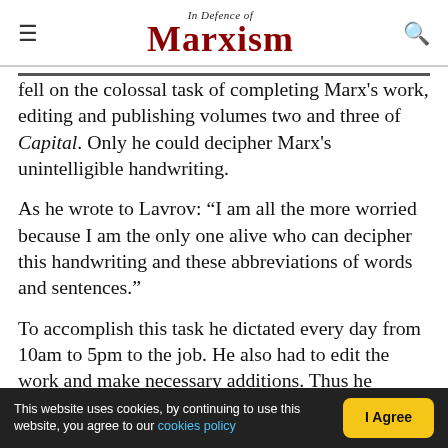In Defence of Marxism
fell on the colossal task of completing Marx's work, editing and publishing volumes two and three of Capital. Only he could decipher Marx's unintelligible handwriting.
As he wrote to Lavrov: “I am all the more worried because I am the only one alive who can decipher this handwriting and these abbreviations of words and sentences.”
To accomplish this task he dictated every day from 10am to 5pm to the job. He also had to edit the work and make necessary additions. Thus he endeavoured to complete the work “exclusively in
This website uses cookies, by continuing to use this website, you agree to our cookies policy